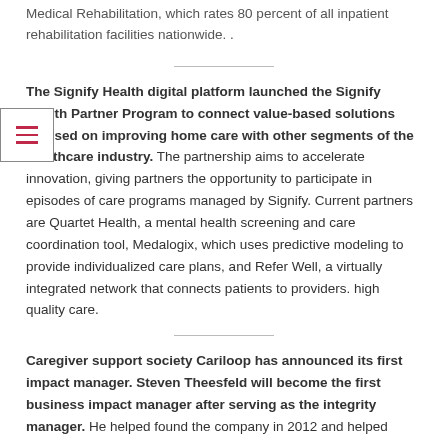Medical Rehabilitation, which rates 80 percent of all inpatient rehabilitation facilities nationwide. .
The Signify Health digital platform launched the Signify Health Partner Program to connect value-based solutions focused on improving home care with other segments of the healthcare industry. The partnership aims to accelerate innovation, giving partners the opportunity to participate in episodes of care programs managed by Signify. Current partners are Quartet Health, a mental health screening and care coordination tool, Medalogix, which uses predictive modeling to provide individualized care plans, and Refer Well, a virtually integrated network that connects patients to providers. high quality care.
Caregiver support society Cariloop has announced its first impact manager. Steven Theesfeld will become the first business impact manager after serving as the integrity manager. He helped found the company in 2012 and helped